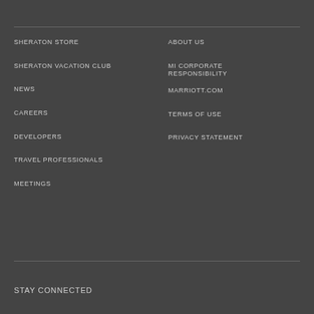SHERATON STORE
SHERATON VACATION CLUB
NEWS
CAREERS
DEVELOPERS
TRAVEL PROFESSIONALS
MEETINGS
ABOUT US
MI CORPORATE RESPONSIBILITY
MARRIOTT.COM
TERMS OF USE
PRIVACY STATEMENT
STAY CONNECTED